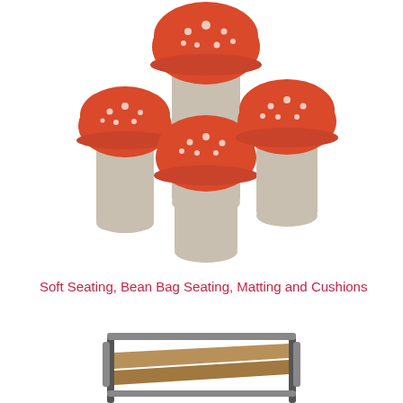[Figure (photo): Four mushroom-shaped upholstered stools/ottomans with red polka-dot fabric caps and grey cylindrical bases, arranged together on a white background.]
Soft Seating, Bean Bag Seating, Matting and Cushions
[Figure (photo): A wooden folding chair or bench with a canvas/fabric seat, metal frame elements, on a white background, partially visible at the bottom of the page.]